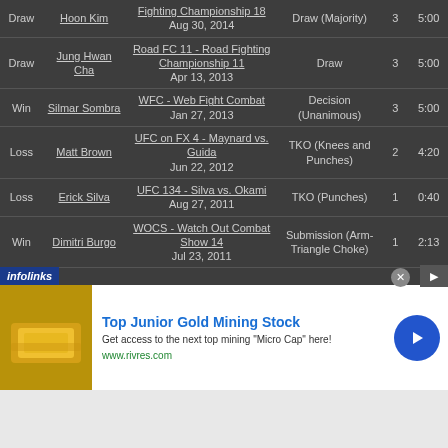| Result | Opponent | Event | Method | Round | Time |
| --- | --- | --- | --- | --- | --- |
| Draw | Hoon Kim | Fighting Championship 18
Aug 30, 2014 | Draw (Majority) | 3 | 5:00 |
| Draw | Jung Hwan Cha | Road FC 11 - Road Fighting Championship 11
Apr 13, 2013 | Draw | 3 | 5:00 |
| Win | Silmar Sombra | WFC - Web Fight Combat
Jan 27, 2013 | Decision (Unanimous) | 3 | 5:00 |
| Loss | Matt Brown | UFC on FX 4 - Maynard vs. Guida
Jun 22, 2012 | TKO (Knees and Punches) | 2 | 4:20 |
| Loss | Erick Silva | UFC 134 - Silva vs. Okami
Aug 27, 2011 | TKO (Punches) | 1 | 0:40 |
| Win | Dimitri Burgo | WOCS - Watch Out Combat Show 14
Jul 23, 2011 | Submission (Arm-Triangle Choke) | 1 | 2:13 |
[Figure (screenshot): Advertisement banner for Top Junior Gold Mining Stock from www.rivres.com with gold bar image and blue arrow button]